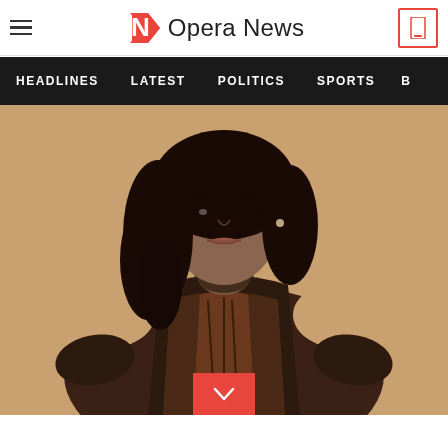≡  N Opera News  [phone icon]
HEADLINES  LATEST  POLITICS  SPORTS  B
[Figure (photo): A woman with long curly dark hair wearing a dark brown/maroon off-shoulder textured dress with ruffled/sculptural details, posed against a beige background. Portrait style photo used as article hero image.]
[Figure (other): Red scroll-down chevron button overlay at bottom center of article hero image]